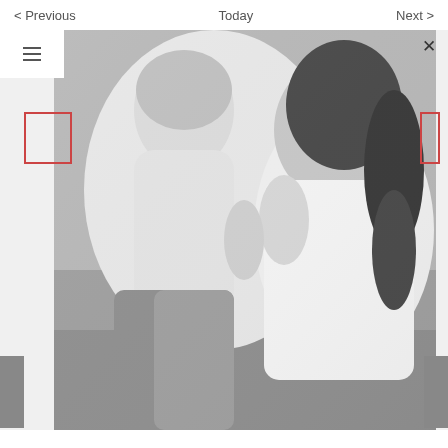< Previous    Today    Next >
[Figure (photo): Black and white photo of a mother and child embracing on a couch, child leaning toward mother's face]
SUBSCRIBE
Sign up with your email address to receive news and updates.
First name